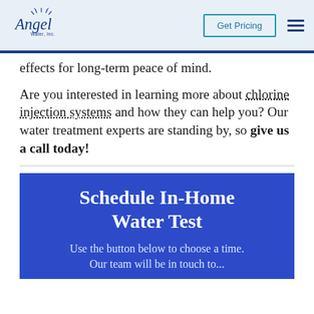Angel Water, Inc. | Get Pricing | Menu
effects for long-term peace of mind.
Are you interested in learning more about chlorine injection systems and how they can help you? Our water treatment experts are standing by, so give us a call today!
Schedule In-Home Water Test
Use the button below to choose a time. Our team will be in touch to...